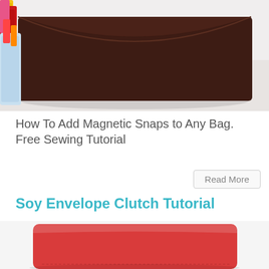[Figure (photo): A dark brown envelope clutch bag photographed on a white surface, with colorful thread spools visible in the background on the left side.]
How To Add Magnetic Snaps to Any Bag. Free Sewing Tutorial
Read More
Soy Envelope Clutch Tutorial
[Figure (photo): A red/coral envelope clutch bag shown from the front, partially visible at the bottom of the page.]